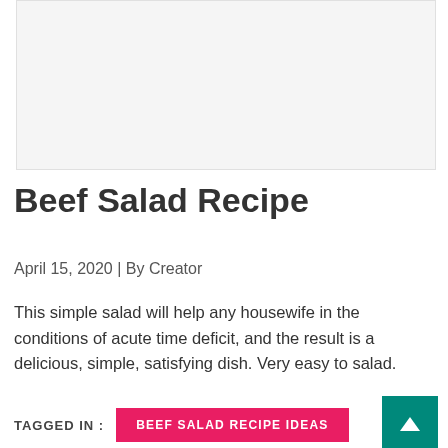[Figure (photo): Image placeholder for Beef Salad Recipe hero photo]
Beef Salad Recipe
April 15, 2020 | By Creator
This simple salad will help any housewife in the conditions of acute time deficit, and the result is a delicious, simple, satisfying dish. Very easy to salad.
TAGGED IN :
BEEF SALAD RECIPE IDEAS